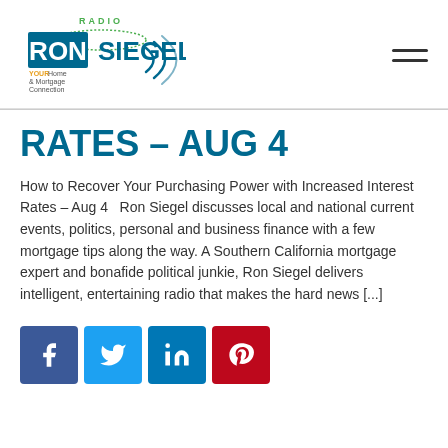[Figure (logo): Ron Siegel Radio logo - YOUR Home & Mortgage Connection]
RATES – AUG 4
How to Recover Your Purchasing Power with Increased Interest Rates – Aug 4   Ron Siegel discusses local and national current events, politics, personal and business finance with a few mortgage tips along the way. A Southern California mortgage expert and bonafide political junkie, Ron Siegel delivers intelligent, entertaining radio that makes the hard news [...]
[Figure (infographic): Social media sharing buttons: Facebook, Twitter, LinkedIn, Pinterest]